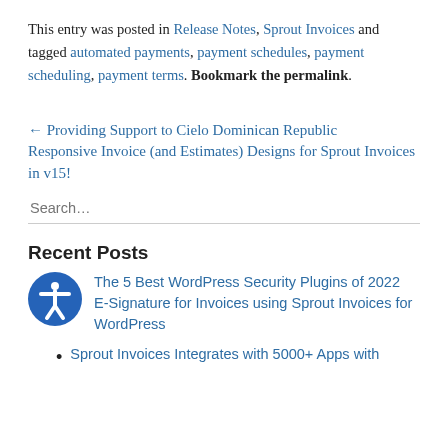This entry was posted in Release Notes, Sprout Invoices and tagged automated payments, payment schedules, payment scheduling, payment terms. Bookmark the permalink.
← Providing Support to Cielo Dominican Republic
Responsive Invoice (and Estimates) Designs for Sprout Invoices in v15! →
Search…
Recent Posts
The 5 Best WordPress Security Plugins of 2022
E-Signature for Invoices using Sprout Invoices for WordPress
Sprout Invoices Integrates with 5000+ Apps with